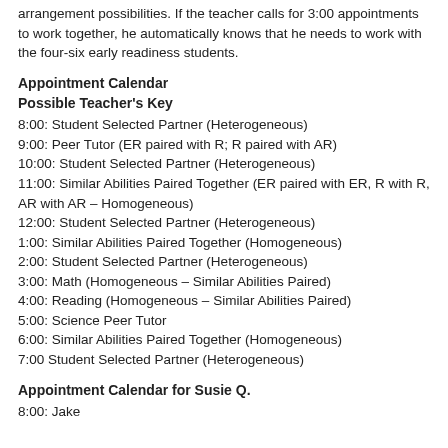arrangement possibilities. If the teacher calls for 3:00 appointments to work together, he automatically knows that he needs to work with the four-six early readiness students.
Appointment Calendar
Possible Teacher's Key
8:00: Student Selected Partner (Heterogeneous)
9:00: Peer Tutor (ER paired with R; R paired with AR)
10:00: Student Selected Partner (Heterogeneous)
11:00: Similar Abilities Paired Together (ER paired with ER, R with R, AR with AR – Homogeneous)
12:00: Student Selected Partner (Heterogeneous)
1:00: Similar Abilities Paired Together (Homogeneous)
2:00: Student Selected Partner (Heterogeneous)
3:00: Math (Homogeneous – Similar Abilities Paired)
4:00: Reading (Homogeneous – Similar Abilities Paired)
5:00: Science Peer Tutor
6:00: Similar Abilities Paired Together (Homogeneous)
7:00 Student Selected Partner (Heterogeneous)
Appointment Calendar for Susie Q.
8:00: Jake